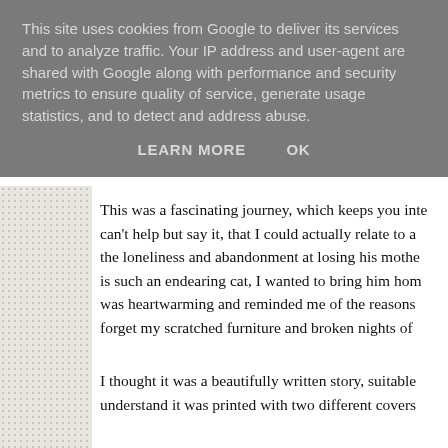This site uses cookies from Google to deliver its services and to analyze traffic. Your IP address and user-agent are shared with Google along with performance and security metrics to ensure quality of service, generate usage statistics, and to detect and address abuse.
LEARN MORE    OK
This was a fascinating journey, which keeps you inte... can't help but say it, that I could actually relate to a... the loneliness and abandonment at losing his mothe... is such an endearing cat, I wanted to bring him hom... was heartwarming and reminded me of the reasons... forget my scratched furniture and broken nights of...
I thought it was a beautifully written story, suitable... understand it was printed with two different covers...
This is the first book by Inbali Iserles, a London lawy... has since written another book called The Bloodstor... involving the search for an enchanted bird in the bac...